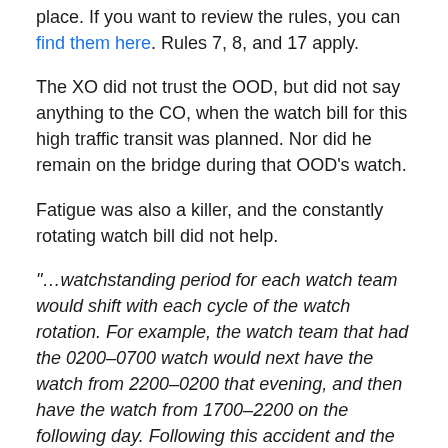place. If you want to review the rules, you can find them here. Rules 7, 8, and 17 apply.
The XO did not trust the OOD, but did not say anything to the CO, when the watch bill for this high traffic transit was planned. Nor did he remain on the bridge during that OOD’s watch.
Fatigue was also a killer, and the constantly rotating watch bill did not help.
“…watchstanding period for each watch team would shift with each cycle of the watch rotation. For example, the watch team that had the 0200–0700 watch would next have the watch from 2200–0200 that evening, and then have the watch from 1700–2200 on the following day. Following this accident and the McCain/Alnic MC collision,